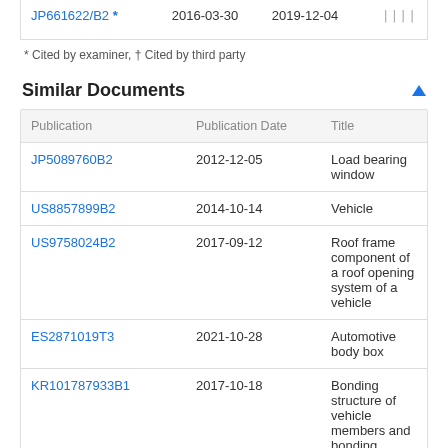|  |  |  |  |
| --- | --- | --- | --- |
| JP661622/B2 * | 2016-03-30 | 2019-12-04 | |||| |
* Cited by examiner, † Cited by third party
Similar Documents
| Publication | Publication Date | Title |
| --- | --- | --- |
| JP5089760B2 | 2012-12-05 | Load bearing window |
| US8857899B2 | 2014-10-14 | Vehicle |
| US9758024B2 | 2017-09-12 | Roof frame component of a roof opening system of a vehicle |
| ES2871019T3 | 2021-10-28 | Automotive body box |
| KR101787933B1 | 2017-10-18 | Bonding structure of vehicle members and bonding structure of backdoor |